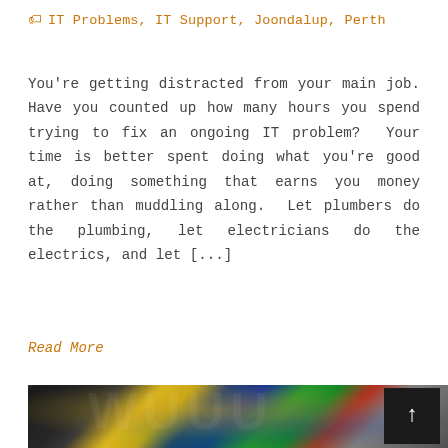🏷 IT Problems, IT Support, Joondalup, Perth
You're getting distracted from your main job. Have you counted up how many hours you spend trying to fix an ongoing IT problem? Your time is better spent doing what you're good at, doing something that earns you money rather than muddling along. Let plumbers do the plumbing, let electricians do the electrics, and let [...]
Read More
[Figure (photo): Close-up blurred photograph of colourful cable tie / zip-tie heads in yellow, blue, green, and red colours against a dark background.]